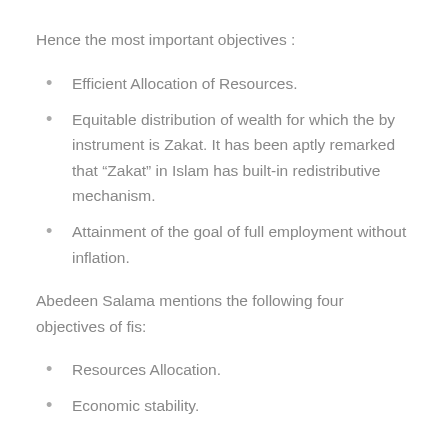Hence the most important objectives :
Efficient Allocation of Resources.
Equitable distribution of wealth for which the by instrument is Zakat. It has been aptly remarked that “Zakat” in Islam has built-in redistributive mechanism.
Attainment of the goal of full employment without inflation.
Abedeen Salama mentions the following four objectives of fis:
Resources Allocation.
Economic stability.